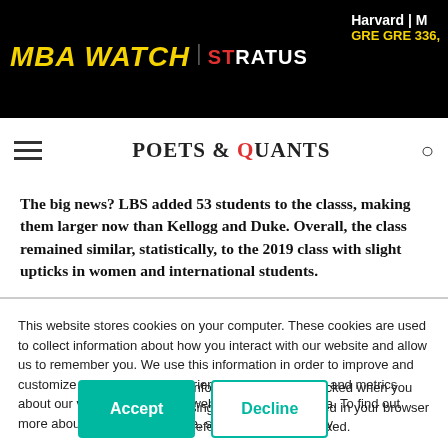MBA WATCH | STRATUS | Harvard | M | GRE GRE 336,
[Figure (logo): Poets & Quants logo with navigation bar including hamburger menu and search icon]
The big news? LBS added 53 students to the classs, making them larger now than Kellogg and Duke. Overall, the class remained similar, statistically, to the 2019 class with slight upticks in women and international students.
This website stores cookies on your computer. These cookies are used to collect information about how you interact with our website and allow us to remember you. We use this information in order to improve and customize your browsing experience and for analytics and metrics about our visitors both on this website and other media. To find out more about the cookies we use, see our Privacy Policy.
If you decline, your information won’t be tracked when you visit this website. A single cookie will be used in your browser to remember your preference not to be tracked.